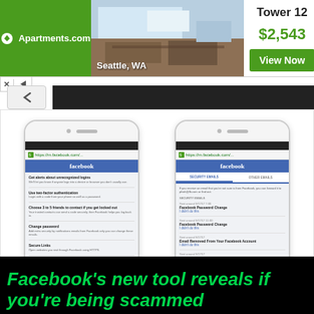[Figure (screenshot): Apartments.com advertisement banner showing Tower 12 in Seattle, WA with price $2,543 and a View Now button]
[Figure (screenshot): Two smartphone screenshots showing Facebook security settings pages: left phone shows security menu with options like Get alerts, Two-factor authentication, Change password, Secure Links, Recent emails; right phone shows Recent emails about security and login including Facebook Password Change, Email Removed From Your Facebook Account, Facebook Email Verification]
Facebook's new tool reveals if you're being scammed